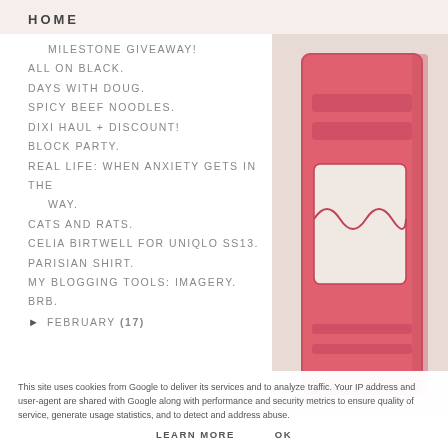HOME
MILESTONE GIVEAWAY!
ALL ON BLACK.
DAYS WITH DOUG.
SPICY BEEF NOODLES.
DIXI HAUL + DISCOUNT!
BLOCK PARTY.
REAL LIFE: WHEN ANXIETY GETS IN THE WAY.
CATS AND RATS.
CELIA BIRTWELL FOR UNIQLO SS13.
PARISIAN SHIRT.
MY BLOGGING TOOLS: IMAGERY.
BRB.
FEBRUARY (17)
[Figure (photo): Coral/pink leather wallet or card holder, close-up shot on light background]
This site uses cookies from Google to deliver its services and to analyze traffic. Your IP address and user-agent are shared with Google along with performance and security metrics to ensure quality of service, generate usage statistics, and to detect and address abuse.
LEARN MORE    OK